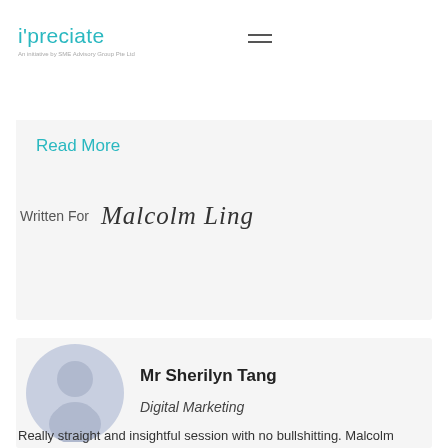i'preciate — An initiative by SME Advisory Group Pte Ltd
ning. never t...
Read More
Written For  Malcolm Ling
[Figure (illustration): Generic avatar placeholder — silhouette of a person in a grey circle]
Mr Sherilyn Tang
Digital Marketing
Really straight and insightful session with no bullshitting. Malcolm points a clearer...